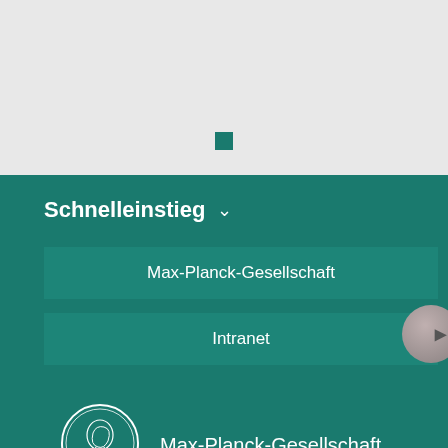[Figure (illustration): Small dark teal square icon centered near the bottom of the grey top section]
Schnelleinstieg
Max-Planck-Gesellschaft
Intranet
[Figure (logo): Max-Planck-Gesellschaft circular coin/medallion logo with a profile portrait]
Max-Planck-Gesellschaft
Impressum
Datenschutzhinweis
© 2022, Max-Planck-Gesellschaft